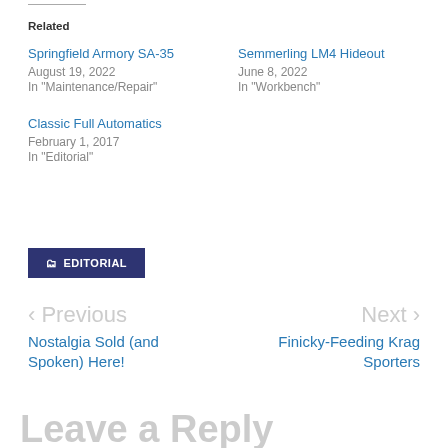Related
Springfield Armory SA-35
August 19, 2022
In "Maintenance/Repair"
Semmerling LM4 Hideout
June 8, 2022
In "Workbench"
Classic Full Automatics
February 1, 2017
In "Editorial"
EDITORIAL
< Previous
Nostalgia Sold (and Spoken) Here!
Next >
Finicky-Feeding Krag Sporters
Leave a Reply